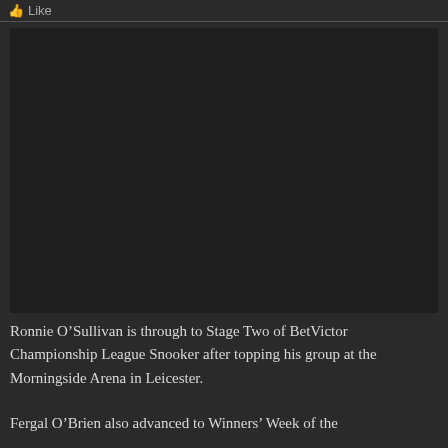Like
[Figure (photo): Dark/black video or image placeholder rectangle]
Ronnie O’Sullivan is through to Stage Two of BetVictor Championship League Snooker after topping his group at the Morningside Arena in Leicester.
Fergal O’Brien also advanced to Winners’ Week of the same snooker making event. The Irishman needed to